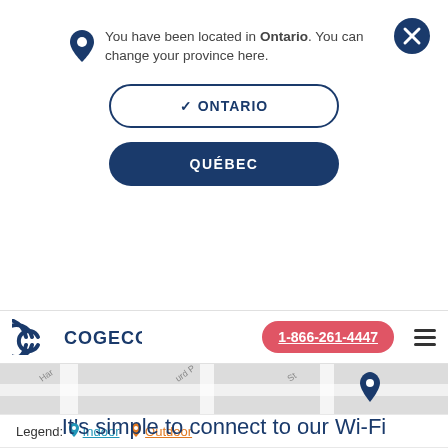You have been located in Ontario. You can change your province here.
✓ ONTARIO
QUÉBEC
[Figure (screenshot): Cogeco logo with stylized C icon and COGECO text]
1-866-261-4447
[Figure (map): Map strip showing street names including Har..., urd P..., St with a blue location pin marker]
Legend: Indoor Outdoor
It's simple to connect to our Wi-Fi